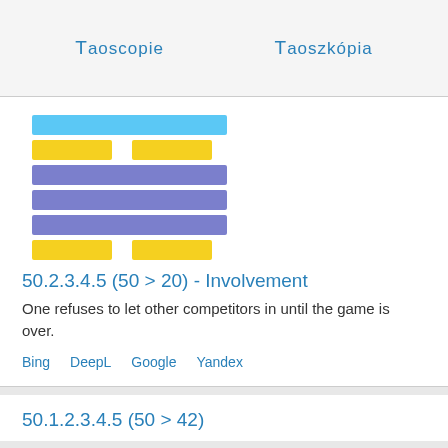Taoscopie    Taoszkópia
[Figure (infographic): Hexagram composed of colored bars: one light blue full bar, one broken yellow bar, three full medium blue bars, one broken yellow bar]
50.2.3.4.5 (50 > 20) - Involvement
One refuses to let other competitors in until the game is over.
Bing   DeepL   Google   Yandex
50.1.2.3.4.5 (50 > 42)